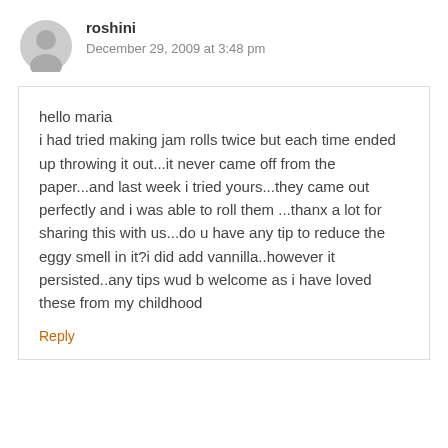roshini
December 29, 2009 at 3:48 pm
hello maria
i had tried making jam rolls twice but each time ended up throwing it out...it never came off from the paper...and last week i tried yours...they came out perfectly and i was able to roll them ...thanx a lot for sharing this with us...do u have any tip to reduce the eggy smell in it?i did add vannilla..however it persisted..any tips wud b welcome as i have loved these from my childhood
Reply